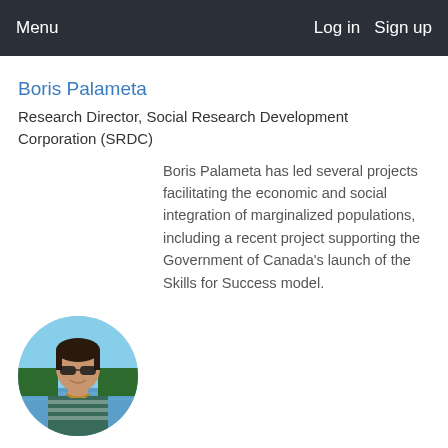Menu   Log in   Sign up
Boris Palameta
Research Director, Social Research Development Corporation (SRDC)
Boris Palameta has led several projects facilitating the economic and social integration of marginalized populations, including a recent project supporting the Government of Canada's launch of the Skills for Success model.
[Figure (photo): Circular profile photo of a woman wearing sunglasses, outdoors near water with trees in background.]